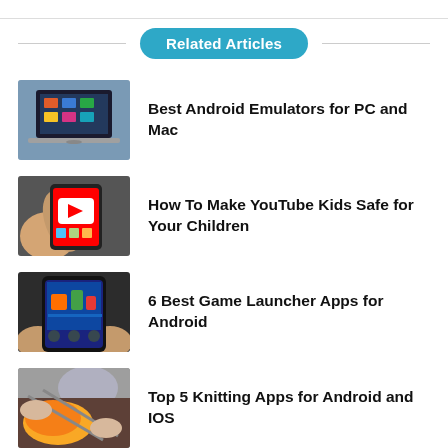Related Articles
Best Android Emulators for PC and Mac
How To Make YouTube Kids Safe for Your Children
6 Best Game Launcher Apps for Android
Top 5 Knitting Apps for Android and IOS